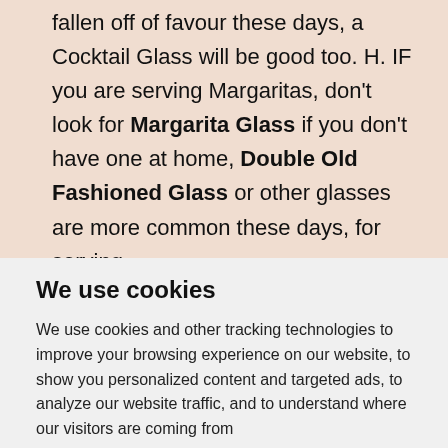fallen off of favour these days, a Cocktail Glass will be good too. H. IF you are serving Margaritas, don't look for Margarita Glass if you don't have one at home, Double Old Fashioned Glass or other glasses are more common these days, for serving
We use cookies
We use cookies and other tracking technologies to improve your browsing experience on our website, to show you personalized content and targeted ads, to analyze our website traffic, and to understand where our visitors are coming from